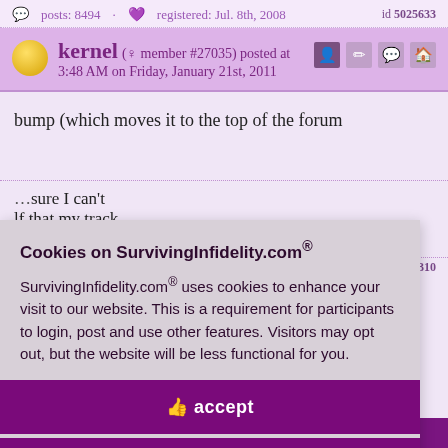posts: 8494 · registered: Jul. 8th, 2008   id 5025633
kernel (♀ member #27035) posted at 3:48 AM on Friday, January 21st, 2011
bump (which moves it to the top of the forum
sure I can't lf that my track o far is 100% and
id 5029310
Cookies on SurvivingInfidelity.com®
SurvivingInfidelity.com® uses cookies to enhance your visit to our website. This is a requirement for participants to login, post and use other features. Visitors may opt out, but the website will be less functional for you.
accept
decline
Policy